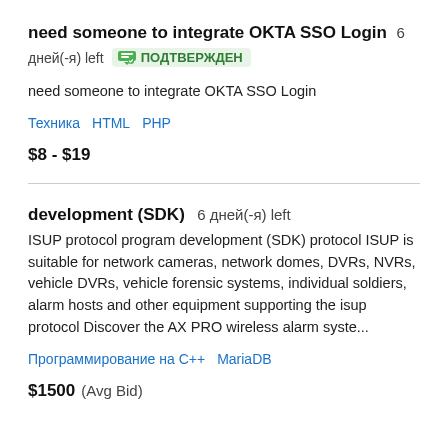need someone to integrate OKTA SSO Login  6 дней(-я) left  ПОДТВЕРЖДЕН
need someone to integrate OKTA SSO Login
Техника   HTML   PHP
$8 - $19
development (SDK)  6 дней(-я) left
ISUP protocol program development (SDK) protocol ISUP is suitable for network cameras, network domes, DVRs, NVRs, vehicle DVRs, vehicle forensic systems, individual soldiers, alarm hosts and other equipment supporting the isup protocol Discover the AX PRO wireless alarm syste...
Программирование на C++   MariaDB
$1500  (Avg Bid)